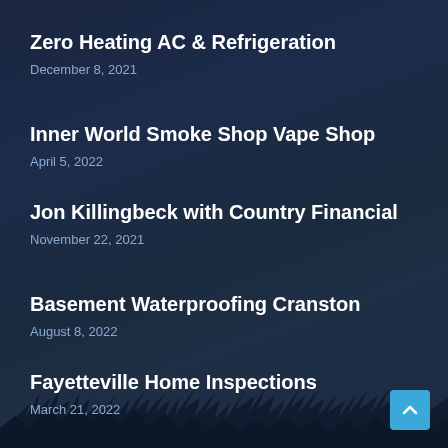Zero Heating AC & Refrigeration
December 8, 2021
Inner World Smoke Shop Vape Shop
April 5, 2022
Jon Killingbeck with Country Financial
November 22, 2021
Basement Waterproofing Cranston
August 8, 2022
Fayetteville Home Inspections
March 21, 2022